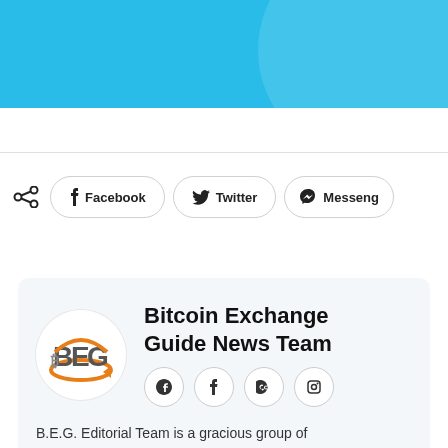[Figure (illustration): Light blue banner/header image with a lighter circular highlight on the right side]
[Figure (infographic): Social share buttons row: share icon, Facebook button, Twitter button, Messenger button]
[Figure (logo): Bitcoin Exchange Guide (BEG) logo - orange orbit arrow around BEG text]
Bitcoin Exchange Guide News Team
B.E.G. Editorial Team is a gracious group of